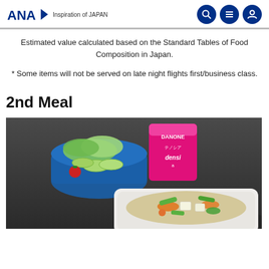ANA Inspiration of JAPAN
Estimated value calculated based on the Standard Tables of Food Composition in Japan.
* Some items will not be served on late night flights first/business class.
2nd Meal
[Figure (photo): ANA airline meal photo showing a blue bowl with salad (lettuce, cucumber slices, cherry tomato), a Danone yogurt cup (pink packaging with Japanese text), and a white tray with stir-fried rice and vegetables (carrots, snap peas, tofu), on a dark grey surface.]